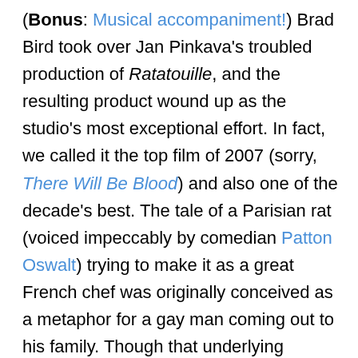(**Bonus**: Musical accompaniment!) Brad Bird took over Jan Pinkava's troubled production of *Ratatouille*, and the resulting product wound up as the studio's most exceptional effort. In fact, we called it the top film of 2007 (sorry, *There Will Be Blood*) and also one of the decade's best. The tale of a Parisian rat (voiced impeccably by comedian Patton Oswalt) trying to make it as a great French chef was originally conceived as a metaphor for a gay man coming out to his family. Though that underlying message of exclusion and ultimately inclusion remains, it also stands as a wonderful depiction of an artist's unquenchable desire to create, and even makes a case for the necessity of art critics (thank *you*, Anton Ego). It's also a hilarious farce, a lovely romantic-comedy, and a gorgeously animated feast for the senses. You can practically smell and taste *Ratatouille*, the most convincing